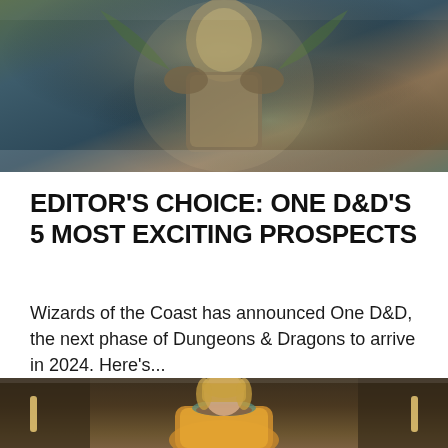[Figure (photo): Fantasy artwork showing an armored warrior figure against a dramatic background with green and gold tones]
EDITOR'S CHOICE: ONE D&D'S 5 MOST EXCITING PROSPECTS
Wizards of the Coast has announced One D&D, the next phase of Dungeons & Dragons to arrive in 2024. Here's...
[Figure (photo): A woman with blonde hair wearing a yellow sweater, standing in a dimly lit room with light strips on the walls]